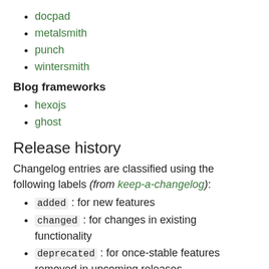docpad
metalsmith
punch
wintersmith
Blog frameworks
hexojs
ghost
Release history
Changelog entries are classified using the following labels (from keep-a-changelog):
added : for new features
changed : for changes in existing functionality
deprecated : for once-stable features removed in upcoming releases
removed : for deprecated features removed in this